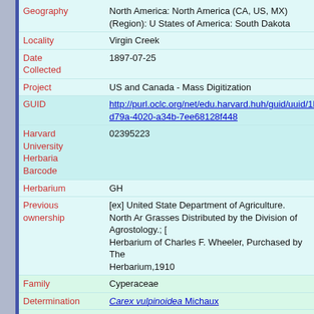| Field | Value |
| --- | --- |
| Geography | North America: North America (CA, US, MX) (Region): United States of America: South Dakota |
| Locality | Virgin Creek |
| Date Collected | 1897-07-25 |
| Project | US and Canada - Mass Digitization |
| GUID | http://purl.oclc.org/net/edu.harvard.huh/guid/uuid/1b8d79a-4020-a34b-7ee68128f448 |
| Harvard University Herbaria Barcode | 02395223 |
| Herbarium | GH |
| Previous ownership | [ex] United State Department of Agriculture. North American Grasses Distributed by the Division of Agrostology.; [ex] Herbarium of Charles F. Wheeler, Purchased by The Herbarium,1910 |
| Family | Cyperaceae |
| Determination | Carex vulpinoidea Michaux |
| Determination Remarks | [is filed under name] [is Current name] |
| Sex | not determined |
| Phenology | NotDetermined |